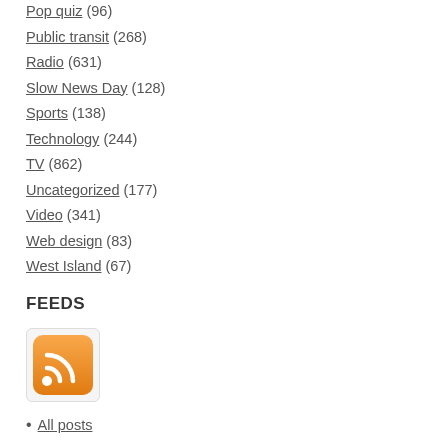Pop quiz (96)
Public transit (268)
Radio (631)
Slow News Day (128)
Sports (138)
Technology (244)
TV (862)
Uncategorized (177)
Video (341)
Web design (83)
West Island (67)
FEEDS
[Figure (logo): RSS feed icon — orange rounded square with white RSS signal symbol]
All posts